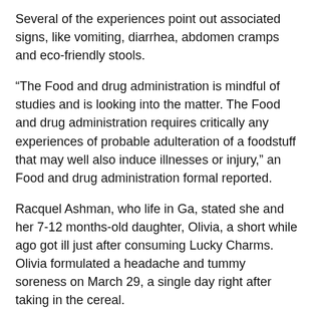Several of the experiences point out associated signs, like vomiting, diarrhea, abdomen cramps and eco-friendly stools.
“The Food and drug administration is mindful of studies and is looking into the matter. The Food and drug administration requires critically any experiences of probable adulteration of a foodstuff that may well also induce illnesses or injury,” an Food and drug administration formal reported.
Racquel Ashman, who life in Ga, stated she and her 7-12 months-old daughter, Olivia, a short while ago got ill just after consuming Lucky Charms. Olivia formulated a headache and tummy soreness on March 29, a single day right after taking in the cereal.
“She was vomiting everywhere you go. It was a mess. She experienced diarrhea. She was complaining of cramps,” Ashman stated.
At very first, Ashman mentioned, she failed to correct her...